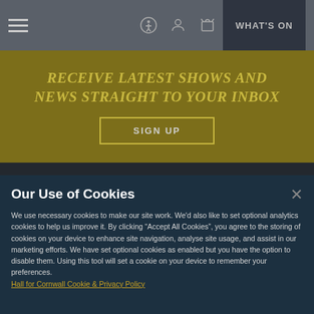Navigation bar with hamburger menu, accessibility, user, basket icons, and WHAT'S ON button
RECEIVE LATEST SHOWS AND NEWS STRAIGHT TO YOUR INBOX
SIGN UP
Our Use of Cookies
We use necessary cookies to make our site work. We'd also like to set optional analytics cookies to help us improve it. By clicking "Accept All Cookies", you agree to the storing of cookies on your device to enhance site navigation, analyse site usage, and assist in our marketing efforts. We have set optional cookies as enabled but you have the option to disable them. Using this tool will set a cookie on your device to remember your preferences.
Hall for Cornwall Cookie & Privacy Policy